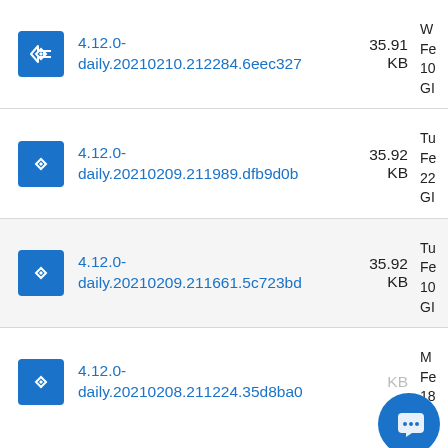4.12.0-daily.20210210.212284.6eec327 | 35.91 KB
4.12.0-daily.20210209.211989.dfb9d0b | 35.92 KB
4.12.0-daily.20210209.211661.5c723bd | 35.92 KB
4.12.0-daily.20210208.211224.35d8ba0 | KB